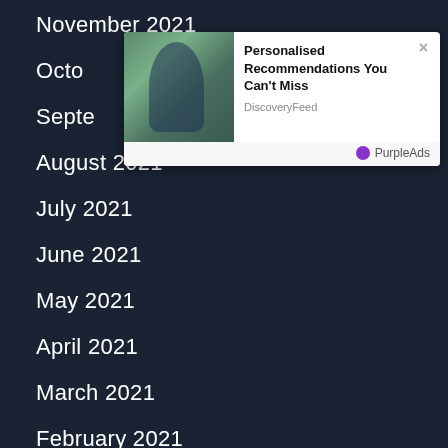November 2021
October
September
August 2021
July 2021
June 2021
May 2021
April 2021
March 2021
February 2021
January 2021
January 1970
[Figure (screenshot): Ad overlay popup from DiscoveryFeed/PurpleAds with title 'Personalised Recommendations You Can't Miss', showing a person with backpack image on the left, an X close button, and PurpleAds branding at the bottom right.]